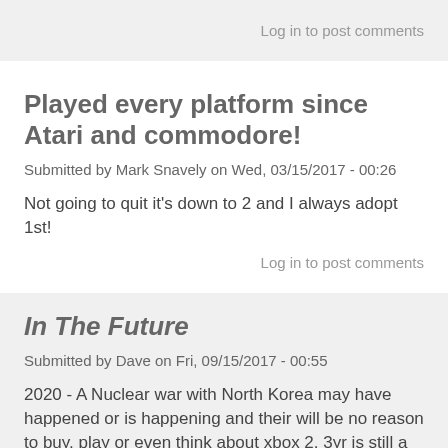Log in to post comments
Played every platform since Atari and commodore!
Submitted by Mark Snavely on Wed, 03/15/2017 - 00:26
Not going to quit it's down to 2 and I always adopt 1st!
Log in to post comments
In The Future
Submitted by Dave on Fri, 09/15/2017 - 00:55
2020 - A Nuclear war with North Korea may have happened or is happening and their will be no reason to buy, play or even think about xbox 2. 3yr is still a long ways away in this vast and crazy expanding economy of